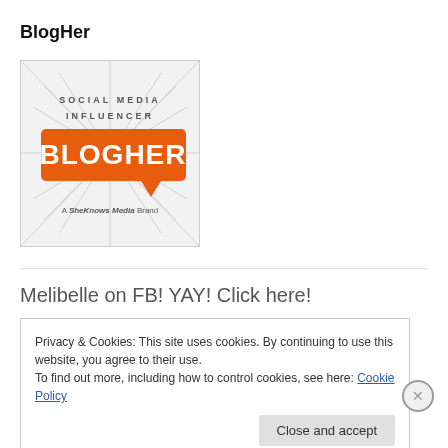BlogHer
[Figure (logo): BlogHer Social Media Influencer badge with orange speech bubble logo and text 'A SheKnows Media Brand' on a sunburst background]
Melibelle on FB! YAY! Click here!
Privacy & Cookies: This site uses cookies. By continuing to use this website, you agree to their use.
To find out more, including how to control cookies, see here: Cookie Policy
Close and accept